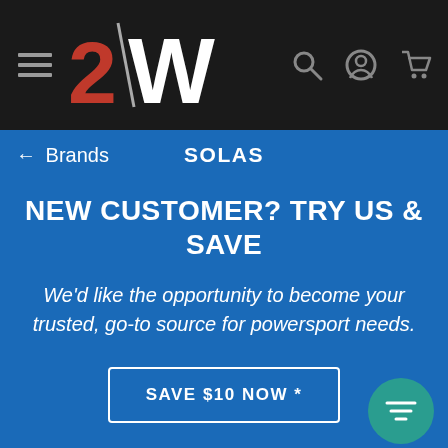[Figure (logo): 2Wheel motorsport logo with red 2 and white W on dark nav bar with hamburger menu, search, account, and cart icons]
← Brands   SOLAS
NEW CUSTOMER? TRY US & SAVE
We'd like the opportunity to become your trusted, go-to source for powersport needs.
SAVE $10 NOW *
WHY CUSTOMERS CHOOSE
[Figure (logo): 2WHEEL logo in black and red on white background]